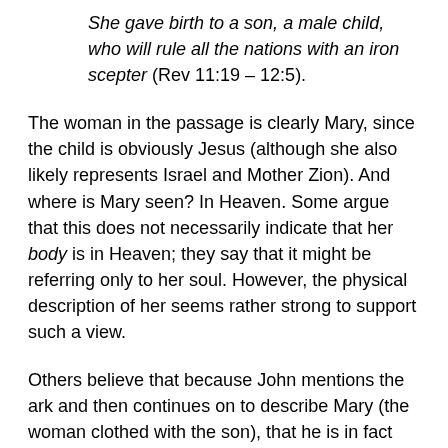She gave birth to a son, a male child, who will rule all the nations with an iron scepter (Rev 11:19 – 12:5).
The woman in the passage is clearly Mary, since the child is obviously Jesus (although she also likely represents Israel and Mother Zion). And where is Mary seen? In Heaven. Some argue that this does not necessarily indicate that her body is in Heaven; they say that it might be referring only to her soul. However, the physical description of her seems rather strong to support such a view.
Others believe that because John mentions the ark and then continues on to describe Mary (the woman clothed with the son), that he is in fact still describing the ark. (I have written on this elsewhere: Mary: The Ark of the New Covenant.) If Mary is the ark described, then she is clearly